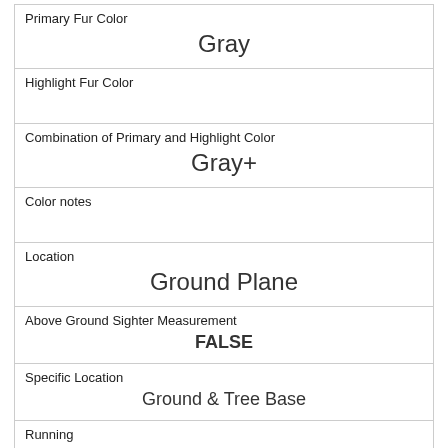| Primary Fur Color | Gray |
| Highlight Fur Color |  |
| Combination of Primary and Highlight Color | Gray+ |
| Color notes |  |
| Location | Ground Plane |
| Above Ground Sighter Measurement | FALSE |
| Specific Location | Ground & Tree Base |
| Running | 0 |
| Chasing | 0 |
| Climbing | 0 |